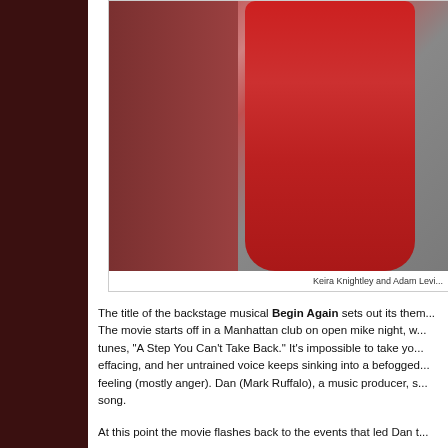[Figure (photo): Keira Knightley seated on steps wearing a red floral dress, with Adam Levine partially visible to her right]
Keira Knightley and Adam Levi...
The title of the backstage musical Begin Again sets out its them... The movie starts off in a Manhattan club on open mike night, w... tunes, "A Step You Can't Take Back." It's impossible to take yo... effacing, and her untrained voice keeps sinking into a befogged... feeling (mostly anger). Dan (Mark Ruffalo), a music producer, s... song.
At this point the movie flashes back to the events that led Dan t...